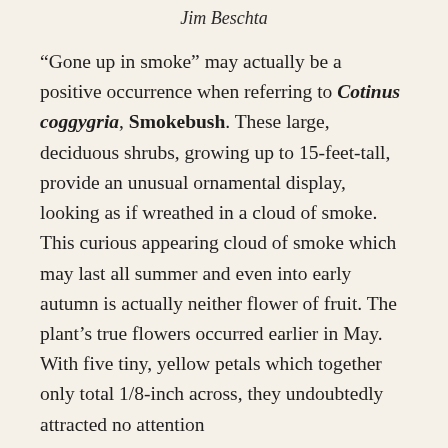Jim Beschta
“Gone up in smoke” may actually be a positive occurrence when referring to Cotinus coggygria, Smokebush. These large, deciduous shrubs, growing up to 15-feet-tall, provide an unusual ornamental display, looking as if wreathed in a cloud of smoke. This curious appearing cloud of smoke which may last all summer and even into early autumn is actually neither flower of fruit. The plant’s true flowers occurred earlier in May. With five tiny, yellow petals which together only total 1/8-inch across, they undoubtedly attracted no attention